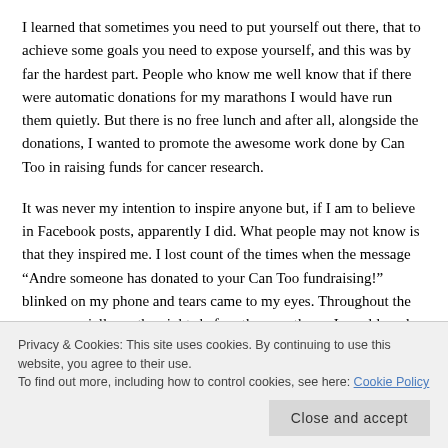I learned that sometimes you need to put yourself out there, that to achieve some goals you need to expose yourself, and this was by far the hardest part. People who know me well know that if there were automatic donations for my marathons I would have run them quietly. But there is no free lunch and after all, alongside the donations, I wanted to promote the awesome work done by Can Too in raising funds for cancer research.
It was never my intention to inspire anyone but, if I am to believe in Facebook posts, apparently I did. What people may not know is that they inspired me. I lost count of the times when the message “Andre someone has donated to your Can Too fundraising!” blinked on my phone and tears came to my eyes. Throughout the year, especially on the nights before the marathons, I would read and reread over and
Privacy & Cookies: This site uses cookies. By continuing to use this website, you agree to their use.
To find out more, including how to control cookies, see here: Cookie Policy